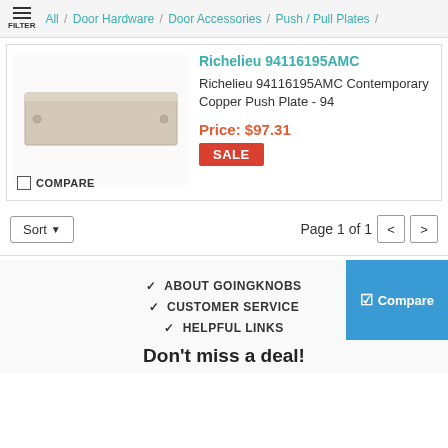FILTER / All / Door Hardware / Door Accessories / Push / Pull Plates /
Richelieu 94116195AMC
[Figure (photo): Photo of a rectangular metal push plate in pale champagne/nickel finish, horizontal orientation with mounting holes at corners.]
Richelieu 94116195AMC Contemporary Copper Push Plate - 94
Price: $97.31
SALE
COMPARE
Sort ▼    Page 1 of 1  < >
✓ ABOUT GOINGKNOBS
✓ CUSTOMER SERVICE
✓ HELPFUL LINKS
Don't miss a deal!